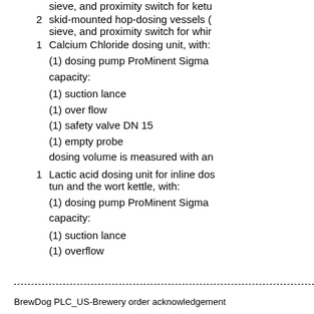sieve, and proximity switch for kettle
2   skid-mounted hop-dosing vessels ( sieve, and proximity switch for whir
1   Calcium Chloride dosing unit, with:
(1) dosing pump ProMinent Sigma capacity:
(1) suction lance
(1) over flow
(1) safety valve DN 15
(1) empty probe
dosing volume is measured with an
1   Lactic acid dosing unit for inline dos tun and the wort kettle, with:
(1) dosing pump ProMinent Sigma capacity:
(1) suction lance
(1) overflow
BrewDog PLC_US-Brewery order acknowledgement